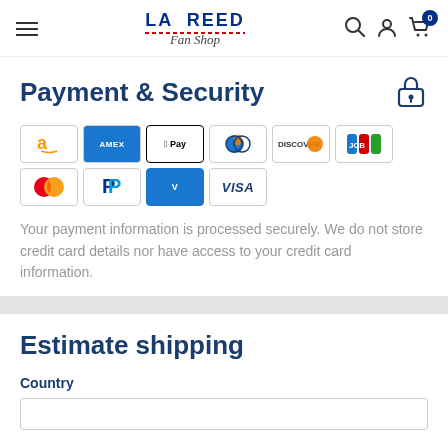LA REED Fan Shop — navigation header with hamburger menu, logo, search, account, and cart icons
Payment & Security
[Figure (other): Payment method icons: Amazon Pay, American Express, Apple Pay, Diners Club, Discover, JCB, Mastercard, PayPal, Venmo, Visa]
Your payment information is processed securely. We do not store credit card details nor have access to your credit card information.
Estimate shipping
Country